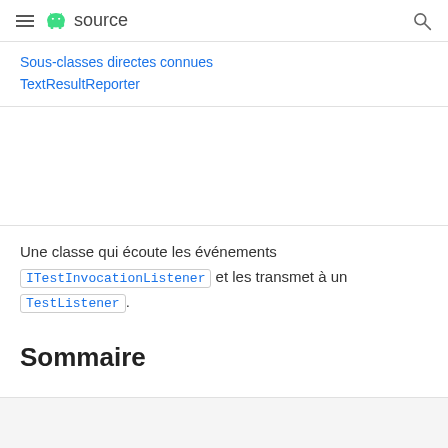≡ Android source 🔍
Sous-classes directes connues
TextResultReporter
Une classe qui écoute les événements ITestInvocationListener et les transmet à un TestListener.
Sommaire